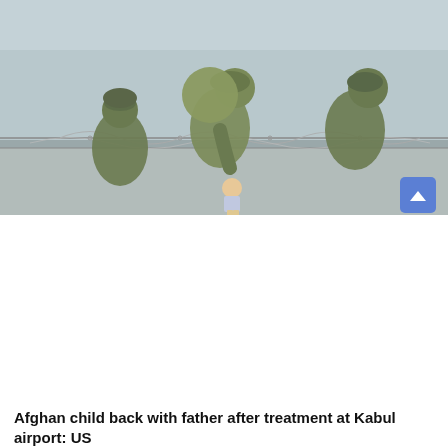[Figure (photo): Photo of armed men in the back of a pickup truck on a road, appearing to be in Afghanistan.]
US in talks with Pak to use airspace for military operations in Afghanistan: Report
October 23, 2021
[Figure (photo): Photo of soldiers in military gear helping lift a child over a barbed wire fence at Kabul airport during evacuation operations.]
Afghan child back with father after treatment at Kabul airport: US